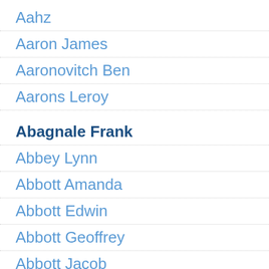Aahz
Aaron James
Aaronovitch Ben
Aarons Leroy
Abagnale Frank
Abbey Lynn
Abbott Amanda
Abbott Edwin
Abbott Geoffrey
Abbott Jacob